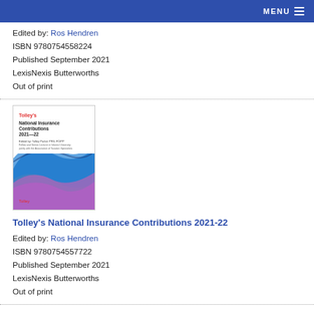MENU
Edited by: Ros Hendren
ISBN 9780754558224
Published September 2021
LexisNexis Butterworths
Out of print
[Figure (photo): Book cover of Tolley's National Insurance Contributions 2021-22, showing abstract blue and purple wave design]
Tolley's National Insurance Contributions 2021-22
Edited by: Ros Hendren
ISBN 9780754557722
Published September 2021
LexisNexis Butterworths
Out of print